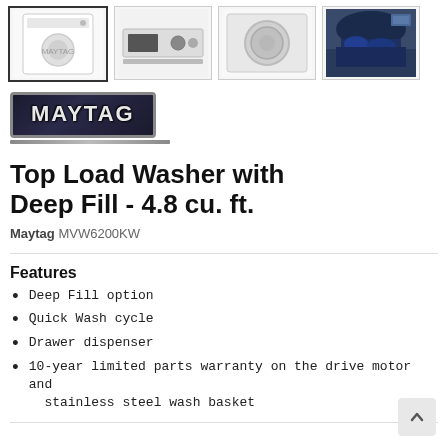[Figure (photo): Four product thumbnail images of washing machines: (1) selected thumbnail with white top-load washer front view, (2) top-load washer control panel, (3) front-load washer door view, (4) washer interior with laundry.]
[Figure (logo): Maytag brand logo — silver/chrome lettering on dark navy background with border.]
Top Load Washer with Deep Fill - 4.8 cu. ft.
Maytag MVW6200KW
Features
Deep Fill option
Quick Wash cycle
Drawer dispenser
10-year limited parts warranty on the drive motor and stainless steel wash basket